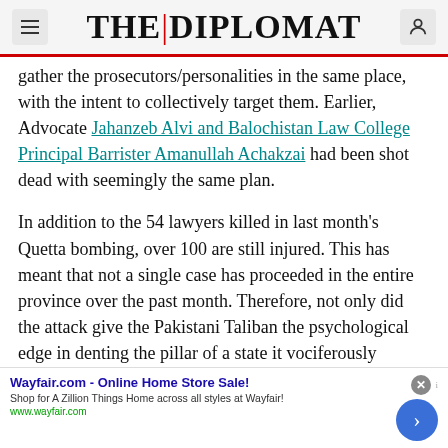THE DIPLOMAT
gather the prosecutors/personalities in the same place, with the intent to collectively target them. Earlier, Advocate Jahanzeb Alvi and Balochistan Law College Principal Barrister Amanullah Achakzai had been shot dead with seemingly the same plan.
In addition to the 54 lawyers killed in last month's Quetta bombing, over 100 are still injured. This has meant that not a single case has proceeded in the entire province over the past month. Therefore, not only did the attack give the Pakistani Taliban the psychological edge in denting the pillar of a state it vociferously intends to usurp, disrupting court
[Figure (other): Advertisement banner for Wayfair.com - Online Home Store Sale! with close button and navigation arrow.]